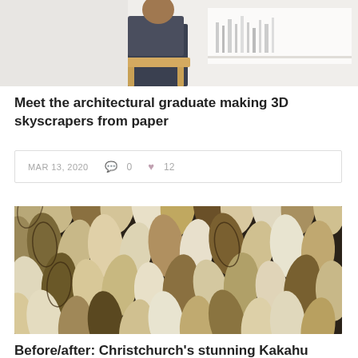[Figure (photo): Person sitting on a wooden stool in a white room with architectural models on a shelf in the background]
Meet the architectural graduate making 3D skyscrapers from paper
MAR 13, 2020  💬 0  ♥ 12
[Figure (photo): Close-up of overlapping decorative cone/scale-shaped tiles in cream, beige, yellow and dark metallic colors forming a wall cladding pattern]
Before/after: Christchurch's stunning Kakahu